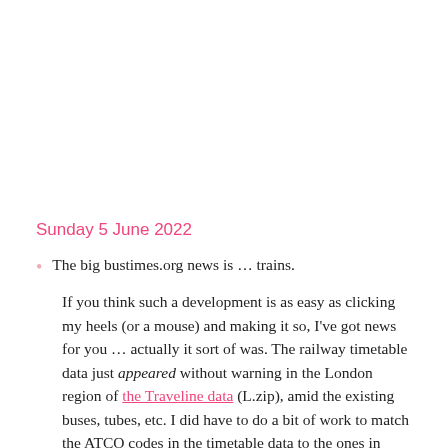Sunday 5 June 2022
The big bustimes.org news is … trains.
If you think such a development is as easy as clicking my heels (or a mouse) and making it so, I've got news for you … actually it sort of was. The railway timetable data just appeared without warning in the London region of the Traveline data (L.zip), amid the existing buses, tubes, etc. I did have to do a bit of work to match the ATCO codes in the timetable data to the ones in NaPTAN